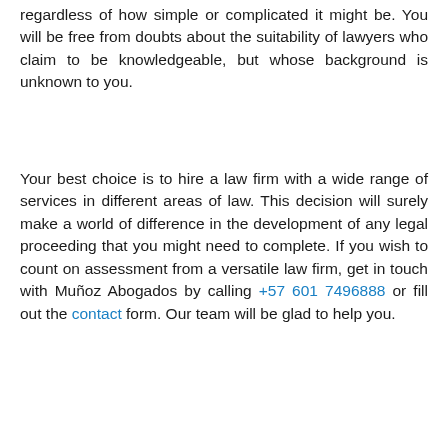regardless of how simple or complicated it might be. You will be free from doubts about the suitability of lawyers who claim to be knowledgeable, but whose background is unknown to you.
Your best choice is to hire a law firm with a wide range of services in different areas of law. This decision will surely make a world of difference in the development of any legal proceeding that you might need to complete. If you wish to count on assessment from a versatile law firm, get in touch with Muñoz Abogados by calling +57 601 7496888 or fill out the contact form. Our team will be glad to help you.
[Figure (infographic): Social sharing bar with view count badge showing 4.01K views, Facebook, Twitter, WhatsApp, Email, and More icons. Below is a large WhatsApp bubble icon and a cyan 'Publicaciones Recientes' bar.]